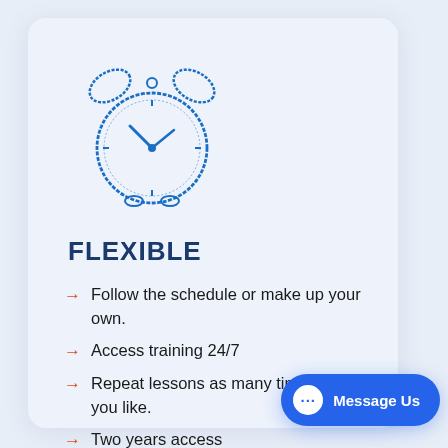[Figure (illustration): Sketch-style blue alarm clock illustration]
FLEXIBLE
Follow the schedule or make up your own.
Access training 24/7
Repeat lessons as many times as you like.
Two years access